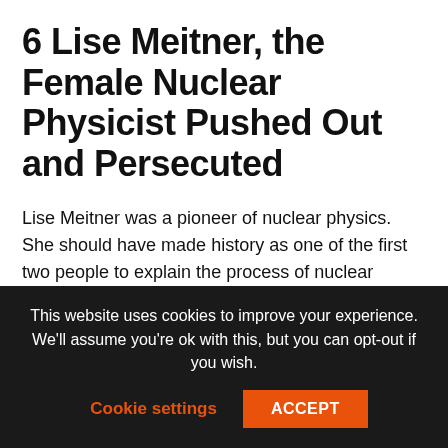6 Lise Meitner, the Female Nuclear Physicist Pushed Out and Persecuted
Lise Meitner was a pioneer of nuclear physics. She should have made history as one of the first two people to explain the process of nuclear fission. But the Austrian trailblazer was never given the credit that people say she deserved. In 1945, when her collaborator Otto Hahn was awarded the Nobel Prize, Meitner’s contribution was sadly overlooked by the judges.
Besides her gender, it was the threat of the Nazi Party
This website uses cookies to improve your experience. We’ll assume you’re ok with this, but you can opt-out if you wish.
Cookie settings
ACCEPT